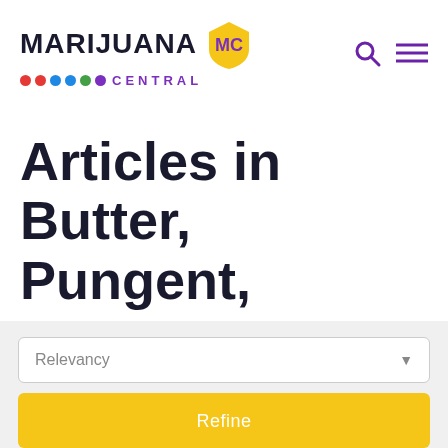[Figure (logo): Marijuana Central logo with shield icon, colorful dots, and purple CENTRAL text]
Articles in Butter, Pungent, Pepper, Pineapple and Rose
Relevancy
Refine